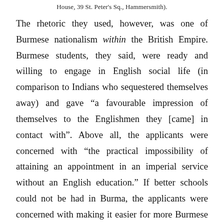House, 39 St. Peter's Sq., Hammersmith).
The rhetoric they used, however, was one of Burmese nationalism within the British Empire. Burmese students, they said, were ready and willing to engage in English social life (in comparison to Indians who sequestered themselves away) and gave “a favourable impression of themselves to the Englishmen they [came] in contact with”. Above all, the applicants were concerned with “the practical impossibility of attaining an appointment in an imperial service without an English education.” If better schools could not be had in Burma, the applicants were concerned with making it easier for more Burmese students to study in England. “The ideal age, for coming to England,” they wrote “is